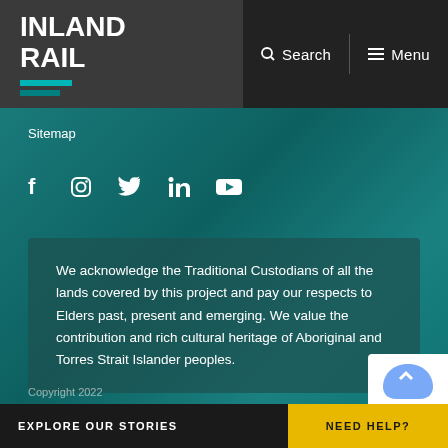INLAND RAIL
Sitemap
[Figure (infographic): Social media icons: Facebook, Instagram, Twitter, LinkedIn, YouTube]
We acknowledge the Traditional Custodians of all the lands covered by this project and pay our respects to Elders past, present and emerging. We value the contribution and rich cultural heritage of Aboriginal and Torres Strait Islander peoples.
Copyright 2022
EXPLORE OUR STORIES
NEED HELP?